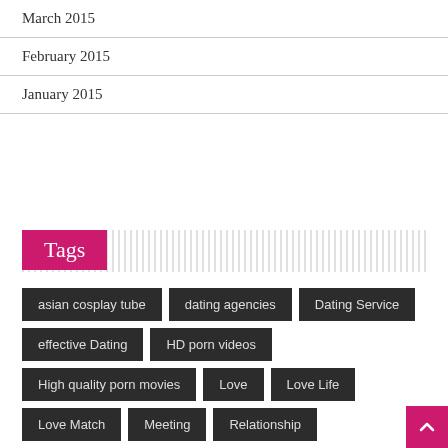March 2015
February 2015
January 2015
Tags
asian cosplay tube
dating agencies
Dating Service
effective Dating
HD porn videos
High quality porn movies
Love
Love Life
Love Match
Meeting
Relationship
Sex Existence
uncensored asian cosplay